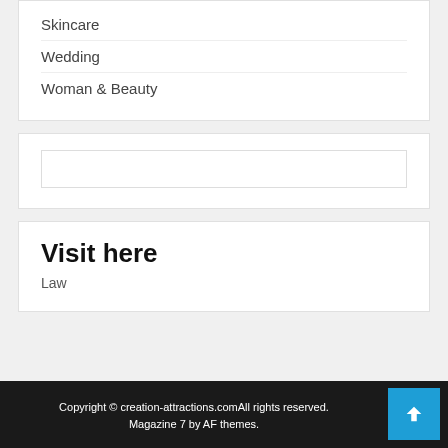Skincare
Wedding
Woman & Beauty
(search input box)
Visit here
Law
Copyright © creation-attractions.comAll rights reserved. Magazine 7 by AF themes.